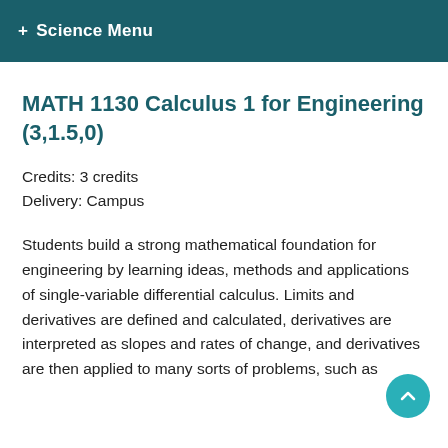+ Science Menu
MATH 1130 Calculus 1 for Engineering (3,1.5,0)
Credits: 3 credits
Delivery: Campus
Students build a strong mathematical foundation for engineering by learning ideas, methods and applications of single-variable differential calculus. Limits and derivatives are defined and calculated, derivatives are interpreted as slopes and rates of change, and derivatives are then applied to many sorts of problems, such as